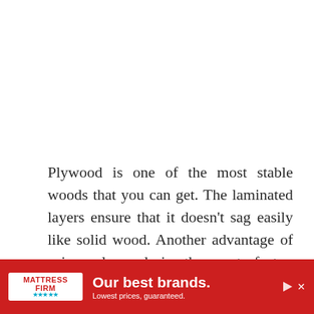Plywood is one of the most stable woods that you can get. The laminated layers ensure that it doesn't sag easily like solid wood. Another advantage of using plywood is the cost factor. Plywood costs relatively less than most solid woods.
It can cost as much as half the price of solid woods. You will also find plywood eas... into... ½"
[Figure (other): Advertisement banner for Mattress Firm: red background with white Mattress Firm logo on left, bold white text 'Our best brands.' and subtext 'Lowest prices, guaranteed.' with play and close buttons on the right.]